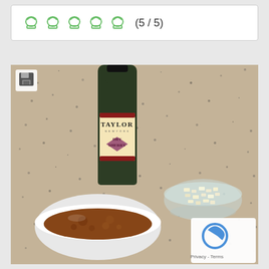[Figure (other): Five green chef hat icons rating display showing 5/5 score in a white rounded box]
[Figure (photo): Photo of Taylor Dry Sherry wine bottle on granite countertop with a white bowl of brown sauce/marinade and a small glass bowl of chopped white ingredients (onion or garlic). A reCAPTCHA privacy widget is visible in the bottom right corner.]